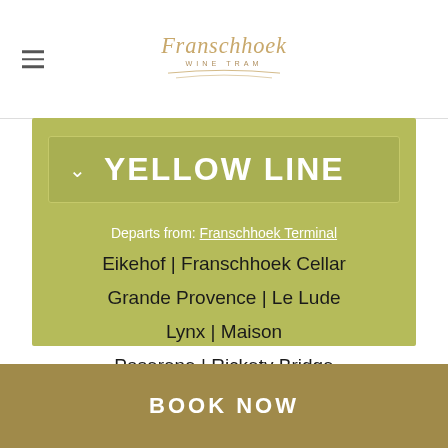Franschhoek Wine Tram
YELLOW LINE
Departs from: Franschhoek Terminal
Eikehof | Franschhoek Cellar
Grande Provence | Le Lude
Lynx | Maison
Paserene | Rickety Bridge
BOOK NOW